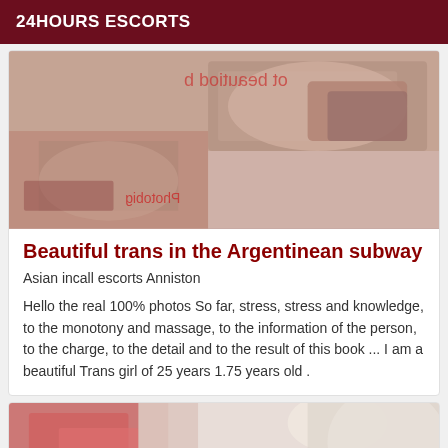24HOURS ESCORTS
[Figure (photo): Blurred/pixelated adult content image shown upside down with watermark text]
Beautiful trans in the Argentinean subway
Asian incall escorts Anniston
Hello the real 100% photos So far, stress, stress and knowledge, to the monotony and massage, to the information of the person, to the charge, to the detail and to the result of this book ... I am a beautiful Trans girl of 25 years 1.75 years old .
[Figure (photo): Partially visible image at bottom of page showing a person with blonde hair, pixelated/blurred]